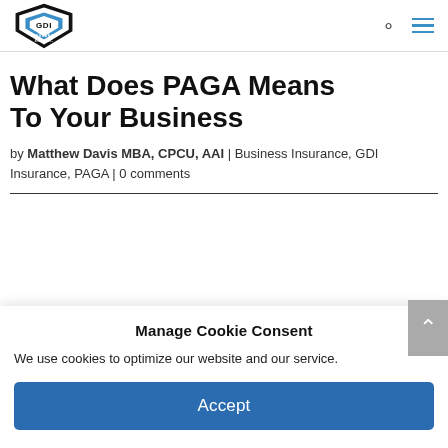GDI Insurance Agency, Inc.
What Does PAGA Means To Your Business
by Matthew Davis MBA, CPCU, AAI | Business Insurance, GDI Insurance, PAGA | 0 comments
Manage Cookie Consent
We use cookies to optimize our website and our service.
Accept